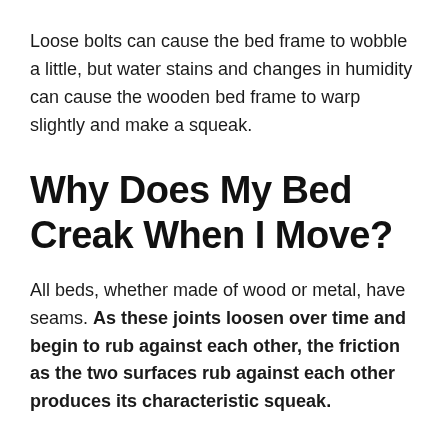Loose bolts can cause the bed frame to wobble a little, but water stains and changes in humidity can cause the wooden bed frame to warp slightly and make a squeak.
Why Does My Bed Creak When I Move?
All beds, whether made of wood or metal, have seams. As these joints loosen over time and begin to rub against each other, the friction as the two surfaces rub against each other produces its characteristic squeak.